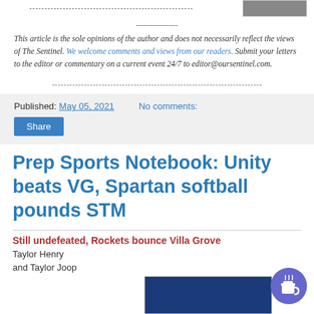------------------------------------------------------
------------------
[Figure (photo): Partial image visible at top right corner]
This article is the sole opinions of the author and does not necessarily reflect the views of The Sentinel. We welcome comments and views from our readers. Submit your letters to the editor or commentary on a current event 24/7 to editor@oursentinel.com.
--------------------------------------------------------------------------------
Published: May 05, 2021   No comments:
Share
Prep Sports Notebook: Unity beats VG, Spartan softball pounds STM
Still undefeated, Rockets bounce Villa Grove
Taylor Henry and Taylor Joop
[Figure (photo): Blue-toned photo partially visible at bottom right]
[Figure (illustration): Coffee cup button icon, purple circular button]